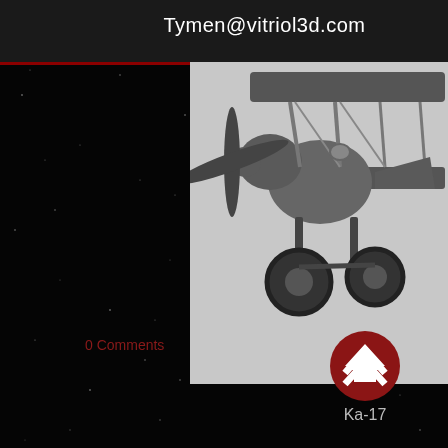Tymen@vitriol3d.com
[Figure (illustration): 3D rendered biplane model shown in gray/dark tones on light gray background, viewed from side-front angle showing propeller, fuselage, wings, struts, and landing gear wheels]
0 Comments
[Figure (logo): Ka-17 logo: dark red circle with white chevron/arrow pointing up, text 'Ka-17' below in gray]